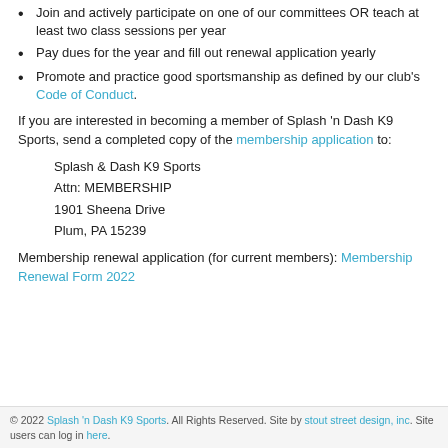Join and actively participate on one of our committees OR teach at least two class sessions per year
Pay dues for the year and fill out renewal application yearly
Promote and practice good sportsmanship as defined by our club's Code of Conduct.
If you are interested in becoming a member of Splash 'n Dash K9 Sports, send a completed copy of the membership application to:
Splash & Dash K9 Sports
Attn: MEMBERSHIP
1901 Sheena Drive
Plum, PA 15239
Membership renewal application (for current members): Membership Renewal Form 2022
© 2022 Splash 'n Dash K9 Sports. All Rights Reserved. Site by stout street design, inc. Site users can log in here.